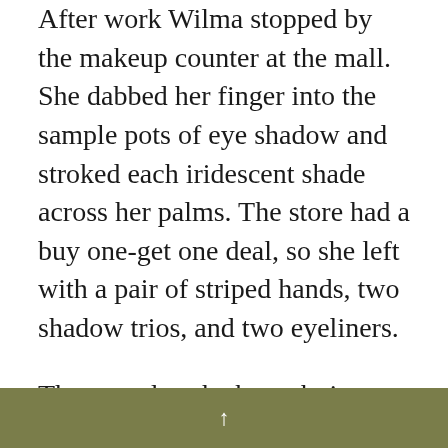After work Wilma stopped by the makeup counter at the mall. She dabbed her finger into the sample pots of eye shadow and stroked each iridescent shade across her palms. The store had a buy one-get one deal, so she left with a pair of striped hands, two shadow trios, and two eyeliners.
The next day she brought in a can of tuna to work and tucked the contents into Gavin's ball. Then she hid it in the back of the coat closet. Before noon the ball had been returned, empty, to her desk.
↑